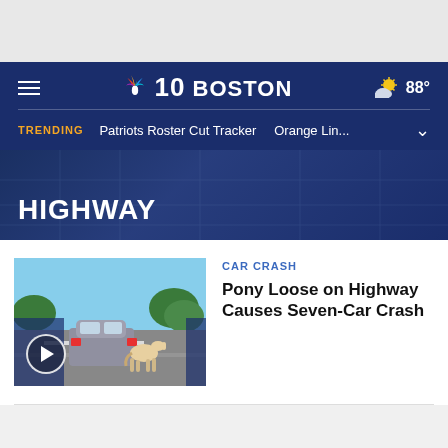NBC 10 Boston — 88°
TRENDING: Patriots Roster Cut Tracker   Orange Lin...
HIGHWAY
[Figure (screenshot): Video thumbnail showing a pony loose on a highway with a car nearby, with a play button overlay]
CAR CRASH
Pony Loose on Highway Causes Seven-Car Crash